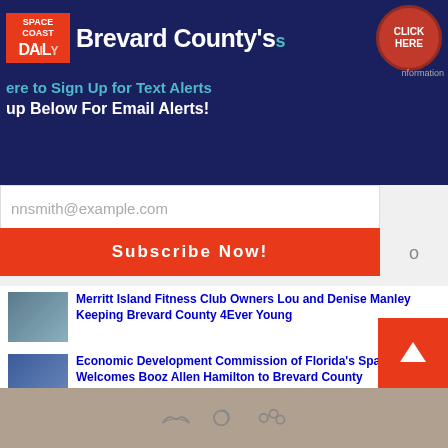[Figure (screenshot): Space Coast Daily news website header banner with logo, 'Brevard County's' title, 'Click Here' button, text alerts signup, and email subscription form]
ere to Sign Up for Text Alerts
up Below For Email Alerts!
nnsmith@example.com
Subscribe Now!
Merritt Island Fitness Club Owners Lou and Denise Manley Keeping Brevard County 4Ever Young
Economic Development Commission of Florida's Space Coast Welcomes Booz Allen Hamilton to Brevard County
Everyone Deserves Justice – Make Sure You Get It With Platt Hopwood Russell & Cole
WATCH: Former Rockledge Raider, Current Arkansas Razorback Raheim Sanders Gears Up for Upcoming Season
[Figure (other): Footer with cloud/social media icons]